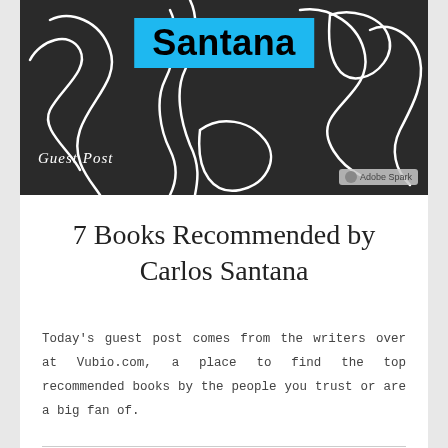[Figure (illustration): Dark banner image with white abstract line drawings/doodles on a dark gray/charcoal background. A cyan/light blue rectangle contains the bold text 'Santana' in black. Bottom left has italic white text 'Guest Post'. Bottom right has an Adobe Spark badge.]
7 Books Recommended by Carlos Santana
Today's guest post comes from the writers over at Vubio.com, a place to find the top recommended books by the people you trust or are a big fan of.
The Rock and Roll Hall of Famer, lightworker, pioneer of